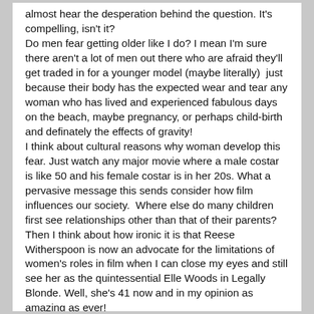almost hear the desperation behind the question. It's compelling, isn't it?
Do men fear getting older like I do? I mean I'm sure there aren't a lot of men out there who are afraid they'll get traded in for a younger model (maybe literally)  just because their body has the expected wear and tear any woman who has lived and experienced fabulous days on the beach, maybe pregnancy, or perhaps child-birth and definately the effects of gravity!
I think about cultural reasons why woman develop this fear. Just watch any major movie where a male costar is like 50 and his female costar is in her 20s. What a pervasive message this sends consider how film influences our society.  Where else do many children first see relationships other than that of their parents? Then I think about how ironic it is that Reese Witherspoon is now an advocate for the limitations of women's roles in film when I can close my eyes and still see her as the quintessential Elle Woods in Legally Blonde. Well, she's 41 now and in my opinion as amazing as ever!
So, it makes me smile that the story of Ruth